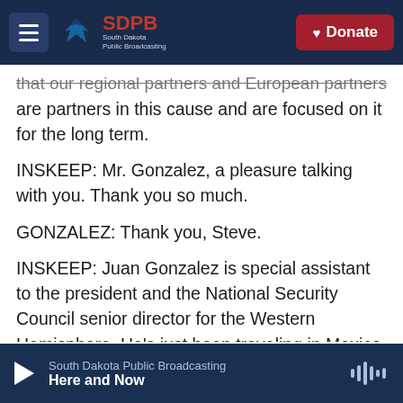SDPB South Dakota Public Broadcasting | Donate
that our regional partners and European partners are partners in this cause and are focused on it for the long term.
INSKEEP: Mr. Gonzalez, a pleasure talking with you. Thank you so much.
GONZALEZ: Thank you, Steve.
INSKEEP: Juan Gonzalez is special assistant to the president and the National Security Council senior director for the Western Hemisphere. He's just been traveling in Mexico. Transcript provided by NPR, Copyright NPR.
South Dakota Public Broadcasting — Here and Now